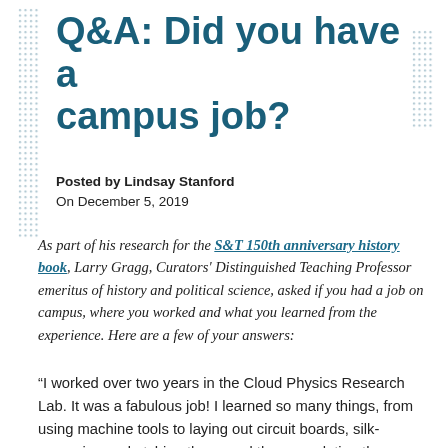Q&A: Did you have a campus job?
Posted by Lindsay Stanford
On December 5, 2019
As part of his research for the S&T 150th anniversary history book, Larry Gragg, Curators' Distinguished Teaching Professor emeritus of history and political science, asked if you had a job on campus, where you worked and what you learned from the experience. Here are a few of your answers:
“I worked over two years in the Cloud Physics Research Lab. It was a fabulous job! I learned so many things, from using machine tools to laying out circuit boards, silk-screening and etching them, and then populating the